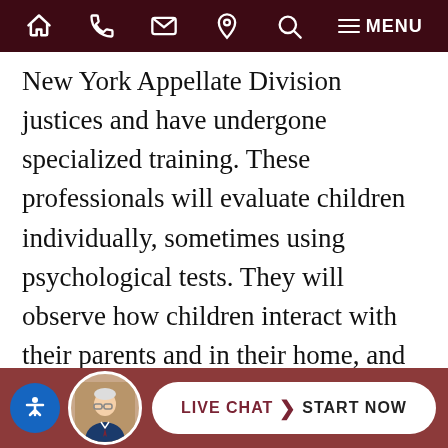Home | Phone | Email | Location | Search | Menu
New York Appellate Division justices and have undergone specialized training. These professionals will evaluate children individually, sometimes using psychological tests. They will observe how children interact with their parents and in their home, and may interview third parties such as family friends, teachers, or school counselors to gain more information. This individual will then compose a report that may or may not include a recommended outcome, depending on the judge's preference. The mental health professional may be called to testify regarding the contents of the report, and parents may choose to call their own expert psychologists to